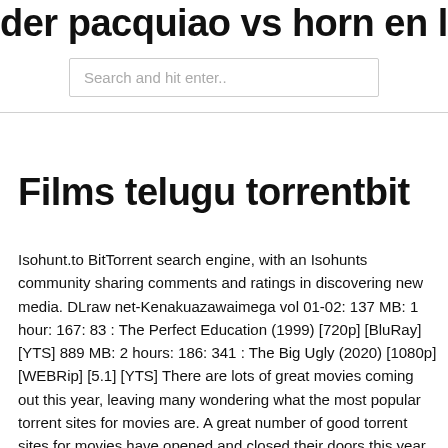der pacquiao vs horn en ligne gratuit
Search and hit enter..
Films telugu torrentbit
Isohunt.to BitTorrent search engine, with an Isohunts community sharing comments and ratings in discovering new media. DLraw net-Kenakuazawaimega vol 01-02: 137 MB: 1 hour: 167: 83 : The Perfect Education (1999) [720p] [BluRay] [YTS] 889 MB: 2 hours: 186: 341 : The Big Ugly (2020) [1080p] [WEBRip] [5.1] [YTS] There are lots of great movies coming out this year, leaving many wondering what the most popular torrent sites for movies are. A great number of good torrent sites for movies have opened and closed their doors this year. 01/07/2020 · Best torrent websites for unblocked access to free movies, shows, games, software, and much more. Trusted sites to download quality torrents. -List of